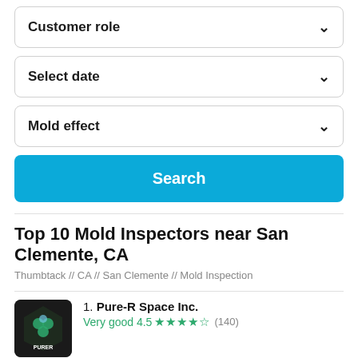Customer role
Select date
Mold effect
Search
Top 10 Mold Inspectors near San Clemente, CA
Thumbtack // CA // San Clemente // Mold Inspection
1. Pure-R Space Inc.
Very good 4.5 ★★★★½ (140)